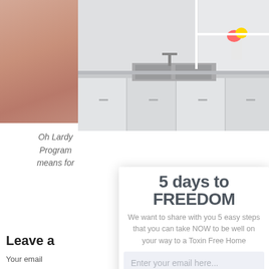[Figure (photo): Partial view of a tan/beige colored object (top left)]
[Figure (photo): Kitchen with white cabinets, double sink, and flowers in a vase on the counter]
Oh Lardy Program means for
5 days to FREEDOM
We want to share with you 5 easy steps that you can take NOW to be well on your way to a Toxin Free Home
Enter your email here...
Hook me up!
Tags: sunscre
Leave a
Your email